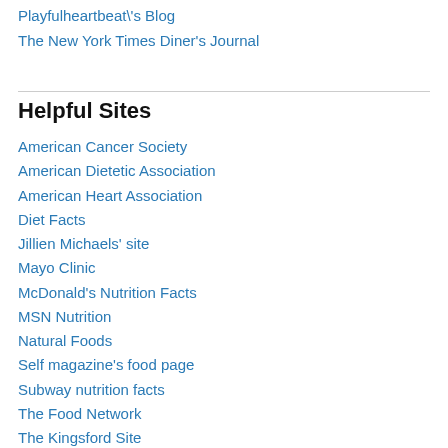Playfulheartbeat\'s Blog
The New York Times Diner's Journal
Helpful Sites
American Cancer Society
American Dietetic Association
American Heart Association
Diet Facts
Jillien Michaels' site
Mayo Clinic
McDonald's Nutrition Facts
MSN Nutrition
Natural Foods
Self magazine's food page
Subway nutrition facts
The Food Network
The Kingsford Site
The New York Times Health section